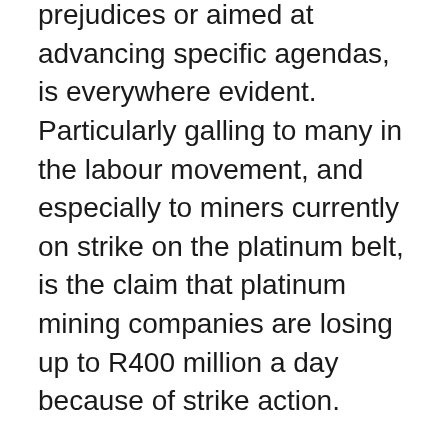prejudices or aimed at advancing specific agendas, is everywhere evident. Particularly galling to many in the labour movement, and especially to miners currently on strike on the platinum belt, is the claim that platinum mining companies are losing up to R400 million a day because of strike action.
This is published as an article of faith throughout the media. At the same time, reports note that the share prices of platinum companies rallied, even two weeks into the strike. What this apparent contradiction highlights is the fact that most major investors realise that the claimed huge losses are nonsense.
Many mineworkers share this perception. They know that while they lose money while on strike, the companies continue to sell metal already mined, paid for, and hoarded